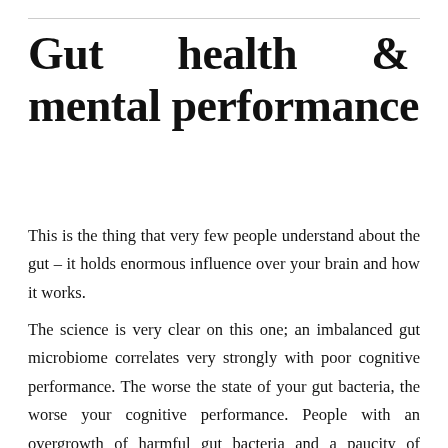Gut health & mental performance
This is the thing that very few people understand about the gut – it holds enormous influence over your brain and how it works.
The science is very clear on this one; an imbalanced gut microbiome correlates very strongly with poor cognitive performance. The worse the state of your gut bacteria, the worse your cognitive performance. People with an overgrowth of harmful gut bacteria and a paucity of friendly gut bacteria have slower reactions, worse memories, worse decision making, and dramatically